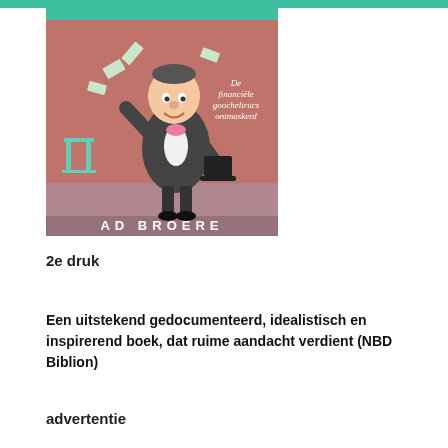[Figure (illustration): Book cover illustration of 'Niet' by Ad Broere — a caricature of a man in a tuxedo as a magician with money flying around, red curtain background, turquoise top bar. Subtitle reads 'De financiële goocheltrucs ontmaskerd'. Author name 'AD BROERE' at the bottom.]
2e druk
Een uitstekend gedocumenteerd, idealistisch en inspirerend boek, dat ruime aandacht verdient (NBD Biblion)
advertentie